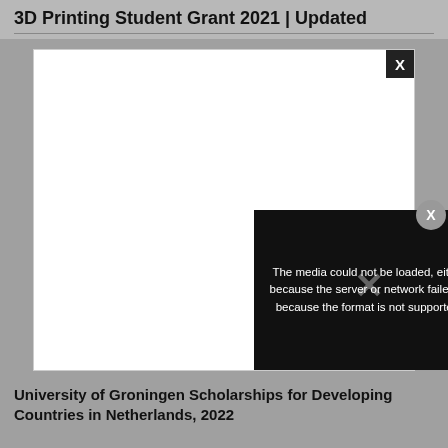3D Printing Student Grant 2021 | Updated
[Figure (screenshot): A media player window showing a white blank area with a close (X) button in the top-right corner. An error overlay in the bottom-right reads: 'The media could not be loaded, either because the server or network failed or because the format is not supported.' with an X icon overlaid. A circular close button appears to the right.]
University of Groningen Scholarships for Developing Countries in Netherlands, 2022